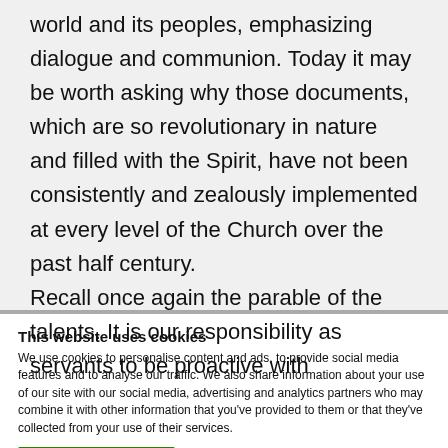world and its peoples, emphasizing dialogue and communion.  Today it may be worth asking why those documents, which are so revolutionary in nature and filled with the Spirit, have not been consistently and zealously implemented at every level of the Church over the past half century.
Recall once again the parable of the talents.  It is our responsibility as servants to be proactive with
This website uses cookies
We use cookies to personalise content and ads, to provide social media features and to analyse our traffic. We also share information about your use of our site with our social media, advertising and analytics partners who may combine it with other information that you've provided to them or that they've collected from your use of their services.